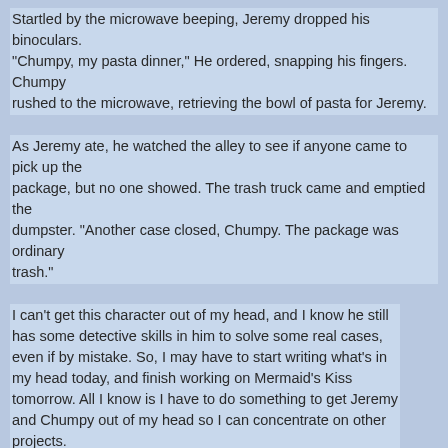Startled by the microwave beeping, Jeremy dropped his binoculars. "Chumpy, my pasta dinner," He ordered, snapping his fingers. Chumpy rushed to the microwave, retrieving the bowl of pasta for Jeremy.
As Jeremy ate, he watched the alley to see if anyone came to pick up the package, but no one showed. The trash truck came and emptied the dumpster. "Another case closed, Chumpy. The package was ordinary trash."
I can't get this character out of my head, and I know he still has some detective skills in him to solve some real cases, even if by mistake. So, I may have to start writing what's in my head today, and finish working on Mermaid's Kiss tomorrow. All I know is I have to do something to get Jeremy and Chumpy out of my head so I can concentrate on other projects.
Happy Reading!
Molly at 9:56 AM    No comments:
Share